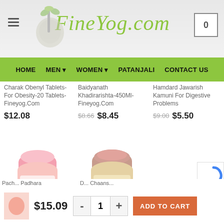[Figure (screenshot): FineYog.com website header with logo, hamburger menu, and cart icon showing 0 items]
HOME  MEN  WOMEN  PATANJALI  CONTACT US
Charak Obenyl Tablets-For Obesity-20 Tablets-Fineyog.Com
$12.08
Baidyanath Khadirarishta-450Ml-Fineyog.Com
$8.66  $8.45
Hamdard Jawarish Kamuni For Digestive Problems
$9.00  $5.50
[Figure (photo): Pink jar of Dabur Pachak product]
[Figure (photo): Gold/brown jar product with OUT OF STOCK overlay]
Pach... Padhara  D... Chaans...
$15.09  -  1  +  ADD TO CART